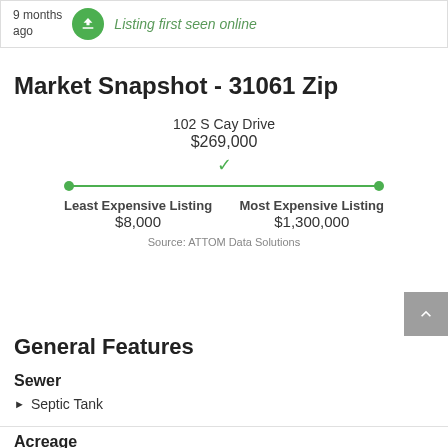9 months ago   Listing first seen online
Market Snapshot - 31061 Zip
[Figure (infographic): Price range bar showing 102 S Cay Drive at $269,000 between Least Expensive Listing at $8,000 and Most Expensive Listing at $1,300,000 in the 31061 zip code]
Source:  ATTOM Data Solutions
General Features
Sewer
Septic Tank
Acreage